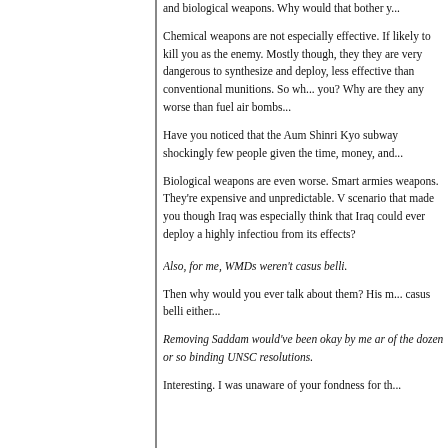and biological weapons. Why would that bother y...
Chemical weapons are not especially effective. If likely to kill you as the enemy. Mostly though, they they are very dangerous to synthesize and deploy, less effective than conventional munitions. So wh... you? Why are they any worse than fuel air bombs...
Have you noticed that the Aum Shinri Kyo subway shockingly few people given the time, money, and...
Biological weapons are even worse. Smart armies weapons. They're expensive and unpredictable. V scenario that made you though Iraq was especially think that Iraq could ever deploy a highly infectiou from its effects?
Also, for me, WMDs weren't casus belli.
Then why would you ever talk about them? His m... casus belli either...
Removing Saddam would've been okay by me ar of the dozen or so binding UNSC resolutions.
Interesting. I was unaware of your fondness for th...